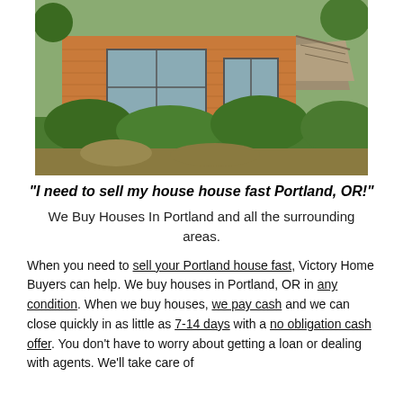[Figure (photo): Dilapidated orange/brown wood-sided house with broken roof on right side, overgrown with vines and weeds in front yard]
"I need to sell my house house fast Portland, OR!"
We Buy Houses In Portland and all the surrounding areas.
When you need to sell your Portland house fast, Victory Home Buyers can help. We buy houses in Portland, OR in any condition. When we buy houses, we pay cash and we can close quickly in as little as 7-14 days with a no obligation cash offer. You don't have to worry about getting a loan or dealing with agents. We'll take care of